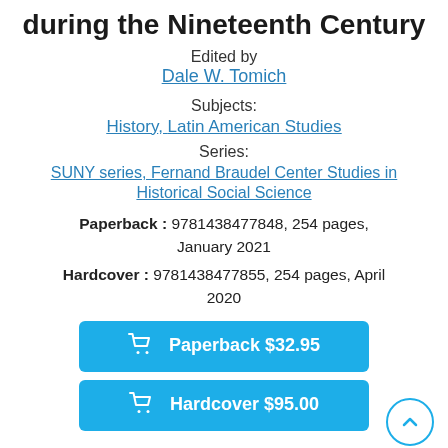during the Nineteenth Century
Edited by
Dale W. Tomich
Subjects:
History, Latin American Studies
Series:
SUNY series, Fernand Braudel Center Studies in Historical Social Science
Paperback : 9781438477848, 254 pages, January 2021
Hardcover : 9781438477855, 254 pages, April 2020
Paperback $32.95
Hardcover $95.00